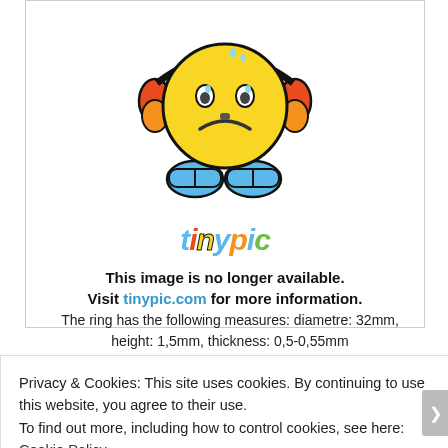[Figure (illustration): Tinypic 'image no longer available' placeholder showing a sad yellow smiley face mascot with headphones and blue shoes, with the tinypic logo below it, and text reading 'This image is no longer available. Visit tinypic.com for more information.']
The ring has the following measures: diametre: 32mm, height: 1,5mm, thickness: 0,5-0,55mm
Privacy & Cookies: This site uses cookies. By continuing to use this website, you agree to their use.
To find out more, including how to control cookies, see here: Cookie Policy